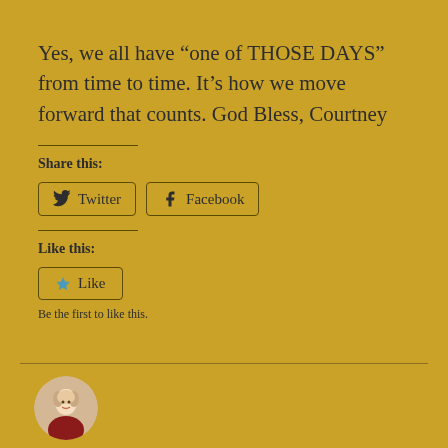Yes, we all have “one of THOSE DAYS” from time to time. It’s how we move forward that counts. God Bless, Courtney
Share this:
[Figure (other): Twitter and Facebook share buttons]
Like this:
[Figure (other): Like button with star icon]
Be the first to like this.
[Figure (photo): Circular avatar photo of a smiling woman]